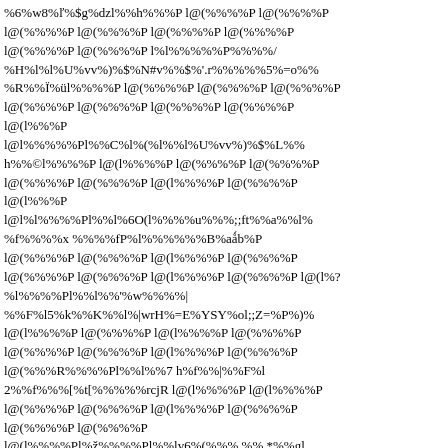Corrupted/encoded binary text content with diamond replacement characters and mixed symbols throughout the page